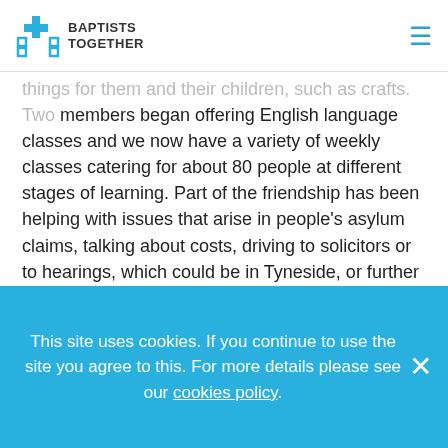BAPTISTS TOGETHER
things for them and their children, such as crafts. Two members began offering English language classes and we now have a variety of weekly classes catering for about 80 people at different stages of learning. Part of the friendship has been helping with issues that arise in people's asylum claims, talking about costs, driving to solicitors or to hearings, which could be in Tyneside, or further afield in Liverpool or London. A couple of members have a role in the technical side of someone's asylum case.
Throughout 2015 interest in the drop-in, the general friendship and assistance offered, and the Christian
This site uses cookies. If you continue to use the site you agree to this. For more details please see our cookies policy.